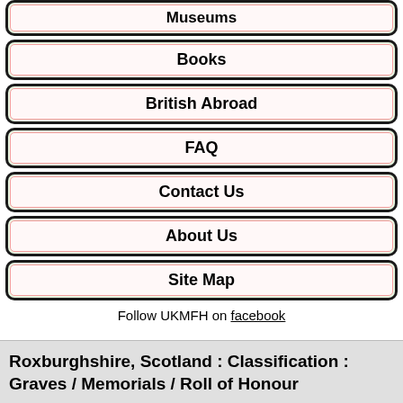Museums
Books
British Abroad
FAQ
Contact Us
About Us
Site Map
Follow UKMFH on facebook
Roxburghshire, Scotland : Classification : Graves / Memorials / Roll of Honour